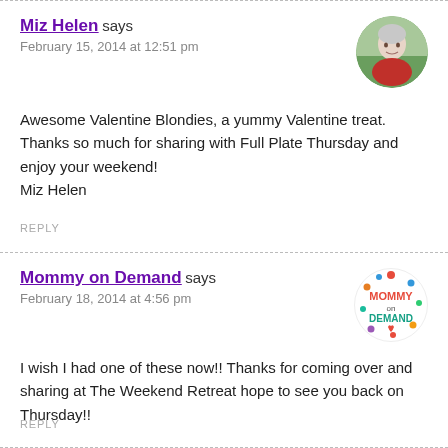Miz Helen says
February 15, 2014 at 12:51 pm
[Figure (photo): Circular avatar photo of an older woman with white/gray hair, smiling, wearing a red patterned top, outdoors background]
Awesome Valentine Blondies, a yummy Valentine treat. Thanks so much for sharing with Full Plate Thursday and enjoy your weekend!
Miz Helen
REPLY
Mommy on Demand says
February 18, 2014 at 4:56 pm
[Figure (logo): Circular Mommy on Demand logo with colorful dots and text MOMMY ON DEMAND in red and teal]
I wish I had one of these now!! Thanks for coming over and sharing at The Weekend Retreat hope to see you back on Thursday!!
REPLY